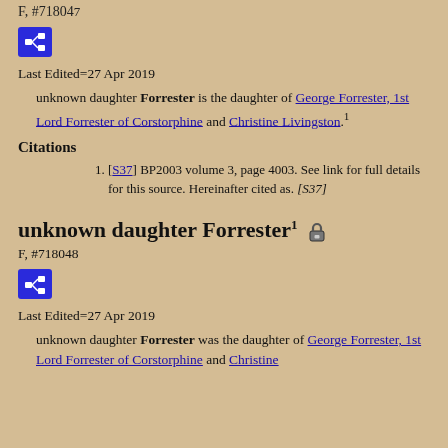F, #718047
[Figure (other): Blue icon button with network/pedigree symbol]
Last Edited=27 Apr 2019
unknown daughter Forrester is the daughter of George Forrester, 1st Lord Forrester of Corstorphine and Christine Livingston.1
Citations
[S37] BP2003 volume 3, page 4003. See link for full details for this source. Hereinafter cited as. [S37]
unknown daughter Forrester1
F, #718048
[Figure (other): Blue icon button with network/pedigree symbol]
Last Edited=27 Apr 2019
unknown daughter Forrester was the daughter of George Forrester, 1st Lord Forrester of Corstorphine and Christine